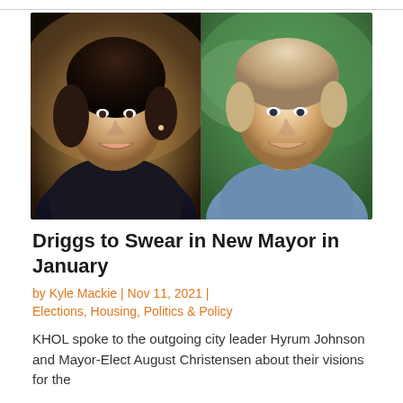[Figure (photo): Side-by-side headshots of two people: a woman with dark brown hair on the left, and a man with light blonde/gray hair on the right, both smiling]
Driggs to Swear in New Mayor in January
by Kyle Mackie | Nov 11, 2021 | Elections, Housing, Politics & Policy
KHOL spoke to the outgoing city leader Hyrum Johnson and Mayor-Elect August Christensen about their visions for the